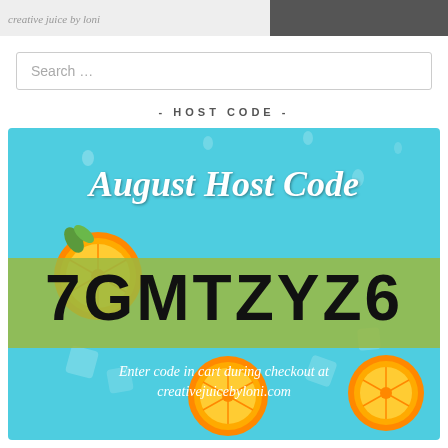[Figure (photo): Partial top image strip showing faint italic text on left and a dark image on the right]
Search …
- HOST CODE -
[Figure (infographic): August Host Code promotional banner with sky blue background, orange slices, green band, and code 7GMTZYZ6. Text: 'August Host Code', '7GMTZYZ6', 'Enter code in cart during checkout at creativejuicebyloni.com']